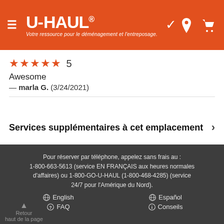[Figure (logo): U-Haul logo on orange header bar with hamburger menu icon, location pin icon, and cart icon. Tagline: Votre ressource pour le déménagement et l'entreposage.]
★★★★★ 5
Awesome
— marla G.  (3/24/2021)
Services supplémentaires à cet emplacement ›
Pour réserver par téléphone, appelez sans frais au : 1-800-663-5613 (service EN FRANÇAIS aux heures normales d'affaires) ou 1-800-GO-U-HAUL (1-800-468-4285) (service 24/7 pour l'Amérique du Nord).
🌐 English   🌐 Español   ❓ FAQ   ℹ Conseils